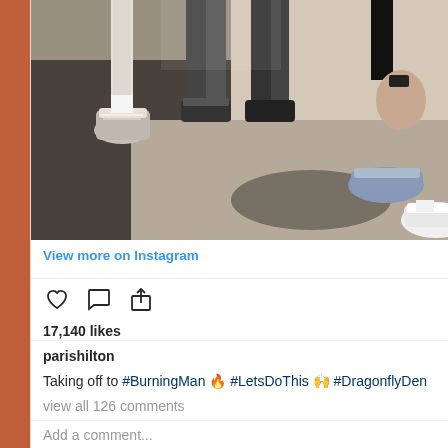[Figure (photo): Instagram post photo showing feet and lower legs of several people standing on asphalt pavement in sunlight, wearing sneakers. Partial view cropped from top.]
View more on Instagram
17,140 likes
parishilton
Taking off to #BurningMan 🔥 #LetsDoThis 🙌 #DragonflyDen
view all 126 comments
Add a comment...